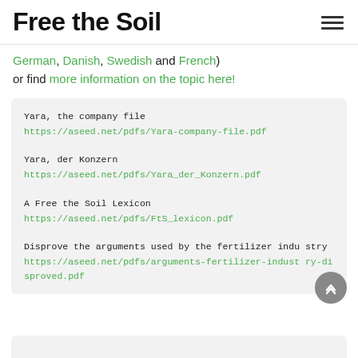Free the Soil
German, Danish, Swedish and French) or find more information on the topic here!
Yara, the company file https://aseed.net/pdfs/Yara-company-file.pdf
Yara, der Konzern https://aseed.net/pdfs/Yara_der_Konzern.pdf
A Free the Soil Lexicon https://aseed.net/pdfs/FtS_lexicon.pdf
Disprove the arguments used by the fertilizer industry https://aseed.net/pdfs/arguments-fertilizer-industry-disproved.pdf